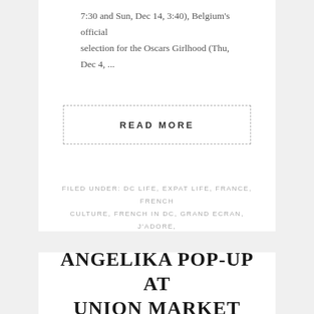7:30 and Sun, Dec 14, 3:40), Belgium's official selection for the Oscars Girlhood (Thu, Dec 4, ...
READ MORE
FILED UNDER: DC LIFE, EXPAT LIFE, FRANCE, FRENCH CULTURE, FRENCH IN DC, GRAND ECRAN, J'ADORE, LOCAL DC, THINGS TO DO, WASHINGTON DC, WASHINGTONIENNE, WINE TAGGED WITH: AFI EUROPEAN FILM SHOWCASE, FILMS, FRENCH FILMS, FRENCH FILMS IN DC
ANGELIKA POP-UP AT UNION MARKET